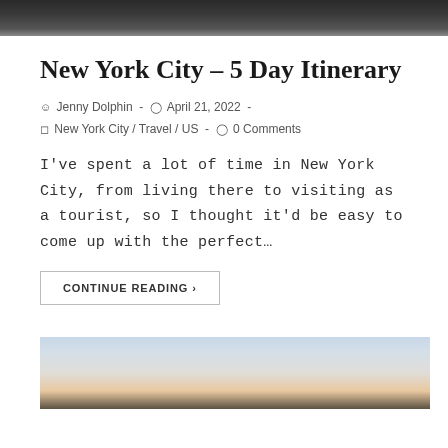[Figure (photo): Dark aerial or cityscape photograph cropped at top of page]
New York City – 5 Day Itinerary
Jenny Dolphin  -  April 21, 2022  -
New York City / Travel / US  -  0 Comments
I've spent a lot of time in New York City, from living there to visiting as a tourist, so I thought it'd be easy to come up with the perfect…
CONTINUE READING ›
[Figure (photo): Landscape/skyline photograph with sky gradient at bottom of page]